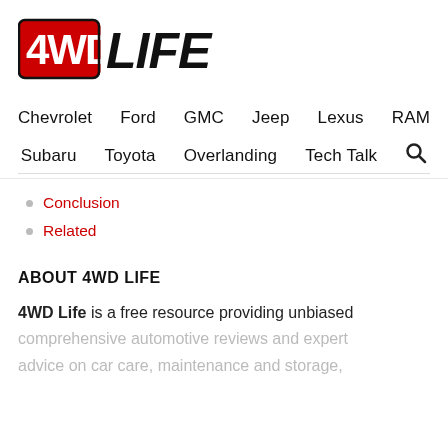[Figure (logo): 4WD LIFE logo with red and black stylized text]
Chevrolet   Ford   GMC   Jeep   Lexus   RAM
Subaru   Toyota   Overlanding   Tech Talk   🔍
Conclusion
Related
ABOUT 4WD LIFE
4WD Life is a free resource providing unbiased comprehensive automotive reviews and expert advice on car care, maintenance and storage,